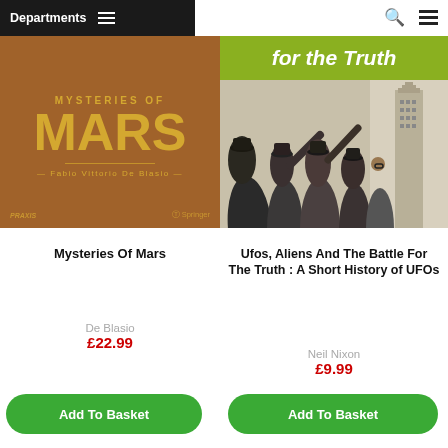Departments
[Figure (photo): Book cover: Mysteries of Mars by Fabio Vittorio De Blasio, brown background with gold/yellow text, Praxis and Springer logos]
[Figure (photo): Book cover: Ufos, Aliens And The Battle For The Truth : A Short History of UFOs by Neil Nixon, green banner reading 'for the Truth', black and white photo of people looking up at the sky near a skyscraper]
Mysteries Of Mars
Ufos, Aliens And The Battle For The Truth : A Short History of UFOs
De Blasio
£22.99
Neil Nixon
£9.99
Add To Basket
Add To Basket